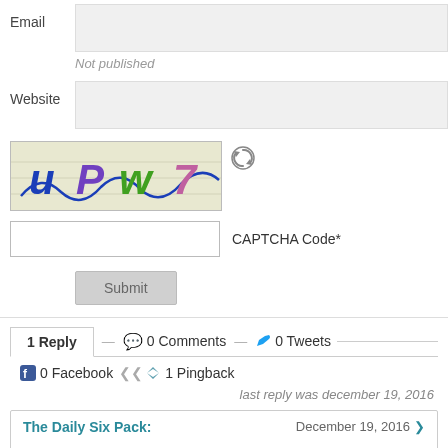Email
Not published
Website
[Figure (other): CAPTCHA image showing handwritten letters UPW7 in blue, purple and green ink on a lined background]
CAPTCHA Code*
Submit
1 Reply
0 Comments
0 Tweets
0 Facebook
1 Pingback
last reply was december 19, 2016
The Daily Six Pack:
December 19, 2016